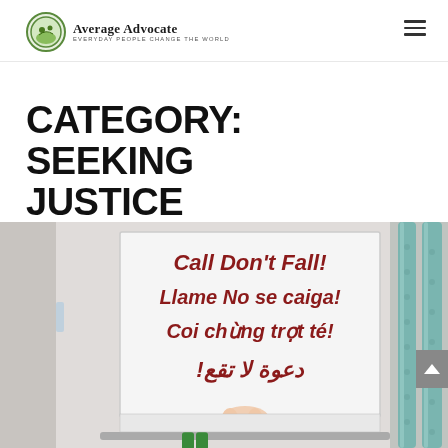Average Advocate — EVERYDAY PEOPLE CHANGE THE WORLD
CATEGORY: SEEKING JUSTICE
[Figure (photo): A multilingual sign on a hospital or medical facility wall reading: Call Don't Fall! / Llame No se caiga! / Coi chừng trợt té! / دعوة لا تقع! A person's hand is partially visible below the sign, and teal/aqua padded poles are visible on the right side.]